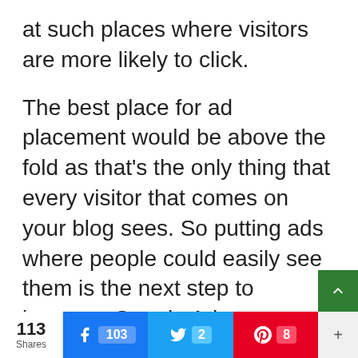at such places where visitors are more likely to click.
The best place for ad placement would be above the fold as that’s the only thing that every visitor that comes on your blog sees. So putting ads where people could easily see them is the next step to increase Google Adsense CTR.
Not only the position but the size of the ad units also play a very important role in determining CTR
113 Shares | Facebook 103 | Twitter 2 | Pinterest 8 | +